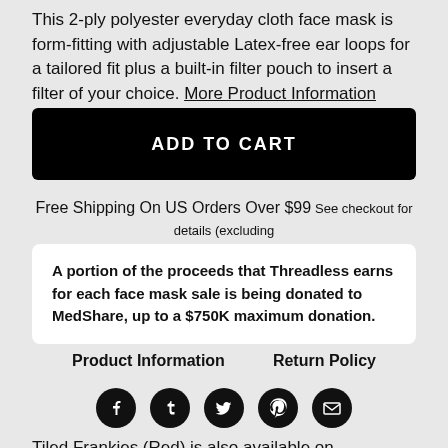This 2-ply polyester everyday cloth face mask is form-fitting with adjustable Latex-free ear loops for a tailored fit plus a built-in filter pouch to insert a filter of your choice. More Product Information
ADD TO CART
Free Shipping On US Orders Over $99 See checkout for details (excluding Shoes, Skateboards, and some Wall Art)
A portion of the proceeds that Threadless earns for each face mask sale is being donated to MedShare, up to a $750K maximum donation.
Product Information    Return Policy
[Figure (infographic): Row of 5 social media icons (Facebook, Tumblr, Twitter, Pinterest, Email) as dark circular buttons]
Tiled Frankies (Red) is also available on